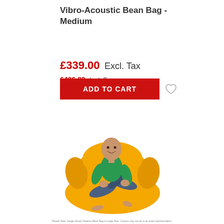Vibro-Acoustic Bean Bag - Medium
£339.00 Excl. Tax
£406.80 Incl. Tax
ADD TO CART
[Figure (photo): A man sitting and smiling on a large yellow bean bag chair, wearing a green shirt and jeans. The bean bag is a vibro-acoustic medium-sized chair.]
Please Note: Image shows Cheemo Bean Bag in Large Size. Colours may not be to an exact representation.